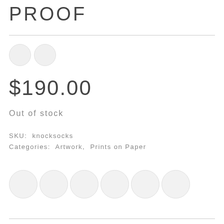PROOF
[Figure (illustration): Two light grey circles side by side, representing placeholder/color swatch buttons]
$190.00
Out of stock
SKU: knocksocks
Categories: Artwork, Prints on Paper
[Figure (illustration): Six light grey circles in a row, representing product image thumbnails]